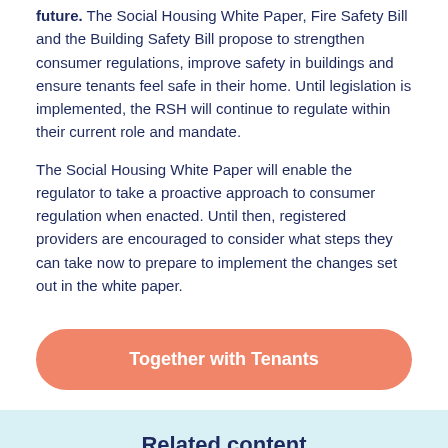future. The Social Housing White Paper, Fire Safety Bill and the Building Safety Bill propose to strengthen consumer regulations, improve safety in buildings and ensure tenants feel safe in their home. Until legislation is implemented, the RSH will continue to regulate within their current role and mandate.
The Social Housing White Paper will enable the regulator to take a proactive approach to consumer regulation when enacted. Until then, registered providers are encouraged to consider what steps they can take now to prepare to implement the changes set out in the white paper.
Together with Tenants
Related content
[Figure (photo): Three thumbnail photos side by side in the Related content section]